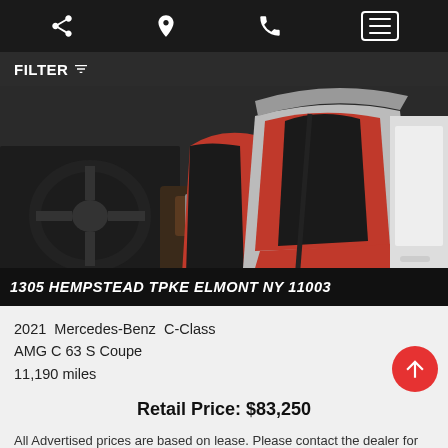Navigation bar with share, location, phone, and menu icons
FILTER
[Figure (photo): Interior of a 2021 Mercedes-Benz AMG C 63 S Coupe showing red and gray leather sport seats with seatbelt, and dashboard with shifter]
1305 HEMPSTEAD TPKE ELMONT NY 11003
2021  Mercedes-Benz  C-Class
AMG C 63 S Coupe
11,190 miles
Retail Price: $83,250
All Advertised prices are based on lease. Please contact the dealer for cash and finance prices.
[Figure (photo): Bottom preview of another car listing with balloons and signage visible]